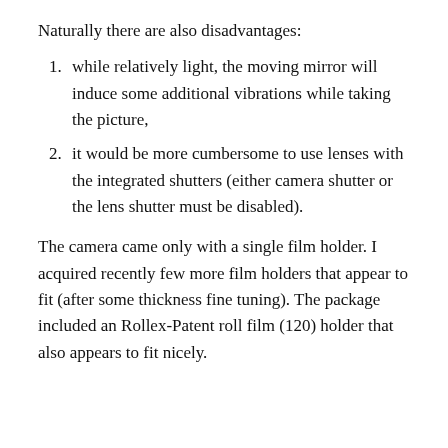Naturally there are also disadvantages:
while relatively light, the moving mirror will induce some additional vibrations while taking the picture,
it would be more cumbersome to use lenses with the integrated shutters (either camera shutter or the lens shutter must be disabled).
The camera came only with a single film holder. I acquired recently few more film holders that appear to fit (after some thickness fine tuning). The package included an Rollex-Patent roll film (120) holder that also appears to fit nicely.